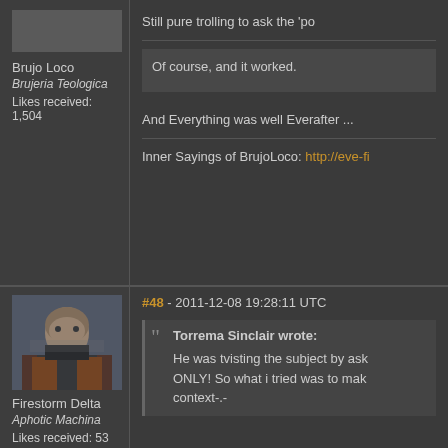Brujo Loco
Brujeria Teologica
Likes received: 1,504
Still pure trolling to ask the 'po
Of course, and it worked.
And Everything was well Everafter ...
Inner Sayings of BrujoLoco: http://eve-fi
#48 - 2011-12-08 19:28:11 UTC
Firestorm Delta
Aphotic Machina
Likes received: 53
Torrema Sinclair wrote: He was tvisting the subject by asking ONLY! So what i tried was to make context-.-